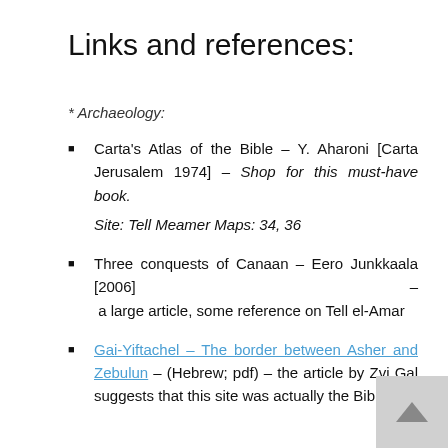Links and references:
* Archaeology:
Carta's Atlas of the Bible – Y. Aharoni [Carta Jerusalem 1974] – Shop for this must-have book.
Site: Tell Meamer Maps: 34, 36
Three conquests of Canaan – Eero Junkkaala [2006] – a large article, some reference on Tell el-Amar
Gai-Yiftachel – The border between Asher and Zebulun – (Hebrew; pdf) – the article by Zvi Gal suggests that this site was actually the Biblical